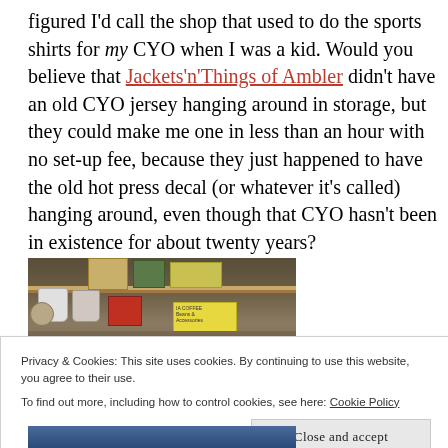figured I'd call the shop that used to do the sports shirts for my CYO when I was a kid. Would you believe that Jackets'n'Things of Ambler didn't have an old CYO jersey hanging around in storage, but they could make me one in less than an hour with no set-up fee, because they just happened to have the old hot press decal (or whatever it's called) hanging around, even though that CYO hasn't been in existence for about twenty years?
[Figure (photo): Interior of a shop showing shelves with boxes, mugs, and various items]
Privacy & Cookies: This site uses cookies. By continuing to use this website, you agree to their use.
To find out more, including how to control cookies, see here: Cookie Policy
Close and accept
[Figure (photo): Bottom portion of another photo showing blue/white sports items]